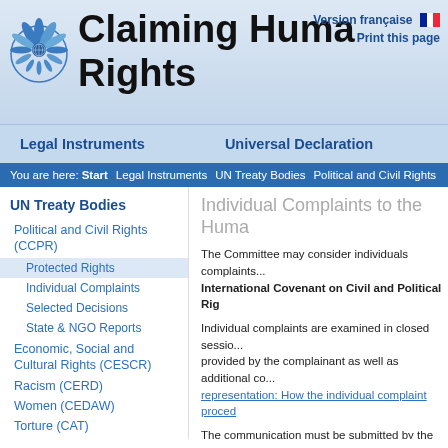[Figure (logo): UN Human Rights logo — blue flame/wreath emblem]
Claiming Human Rights
Version française  Print this page
Legal Instruments    Universal Declaration
You are here:  Start  Legal Instruments  UN Treaty Bodies  Political and Civil Rights
UN Treaty Bodies
Political and Civil Rights (CCPR)
Protected Rights
Individual Complaints
Selected Decisions
State & NGO Reports
Economic, Social and Cultural Rights (CESCR)
Racism (CERD)
Women (CEDAW)
Torture (CAT)
Children (CRC)
Individual Complaints to the Huma...
The Committee may consider individuals complaints... International Covenant on Civil and Political Rig...
Individual complaints are examined in closed sessio... provided by the complainant as well as additional co... representation: How the individual complaint proced...
The communication must be submitted by the allege... his/her behalf. The Committee is prohibited from co... procedure of international investigation. Also, the fo...
the communication must not be anonymous;
it must not constitute an “abuse of the right”, wh... submit a communication;
the communication must be compatible with the...